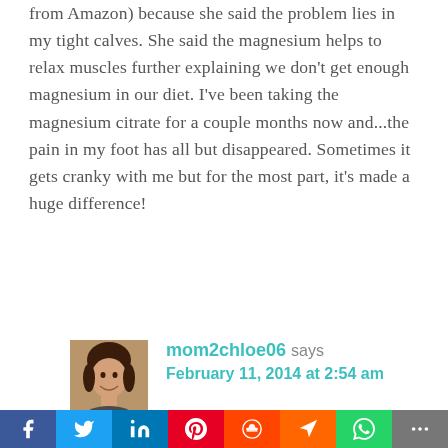from Amazon) because she said the problem lies in my tight calves. She said the magnesium helps to relax muscles further explaining we don't get enough magnesium in our diet. I've been taking the magnesium citrate for a couple months now and...the pain in my foot has all but disappeared. Sometimes it gets cranky with me but for the most part, it's made a huge difference!
Reply
mom2chloe06 says February 11, 2014 at 2:54 am
Thanks for stopping by my blog. I really appreciate the tip! I'll mention it to the podiatrist & definitely look into it.